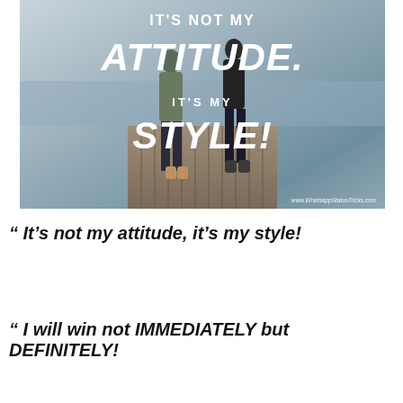[Figure (photo): Two people standing on a wooden pier/dock with text overlay: IT'S NOT MY ATTITUDE. IT'S MY STYLE! with watermark www.WhatsappStatusTricks.com]
“ It’s not my attitude, it’s my style!
“ I will win not IMMEDIATELY but DEFINITELY!